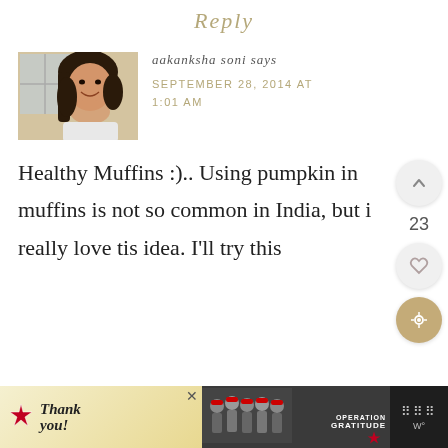Reply
[Figure (photo): Profile photo of commenter Aakanksha Soni — a woman smiling, resting her chin on her hand]
aakanksha soni says
SEPTEMBER 28, 2014 AT 1:01 AM
Healthy Muffins :).. Using pumpkin in muffins is not so common in India, but i really love tis idea. I'll try this
[Figure (infographic): Advertisement banner: 'Thank you!' with Operation Gratitude military imagery]